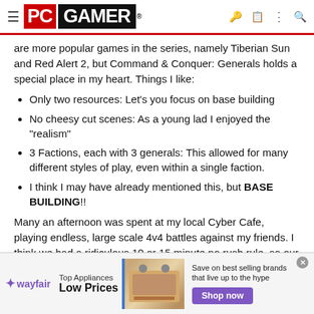PC GAMER
are more popular games in the series, namely Tiberian Sun and Red Alert 2, but Command & Conquer: Generals holds a special place in my heart. Things I like:
Only two resources: Let's you focus on base building
No cheesy cut scenes: As a young lad I enjoyed the "realism"
3 Factions, each with 3 generals: This allowed for many different styles of play, even within a single faction.
I think I may have already mentioned this, but BASE BUILDING!!
Many an afternoon was spent at my local Cyber Cafe, playing endless, large scale 4v4 battles against my friends. I think we had a ridiculous 10 or 15 minute no rush rule, so our bases would usually span the map. This may not have been the intended way to play, but forgive me I was young! I usually opted for the Lazer General. I loved
[Figure (screenshot): Wayfair advertisement banner: Top Appliances Low Prices with stove image and Shop now button]